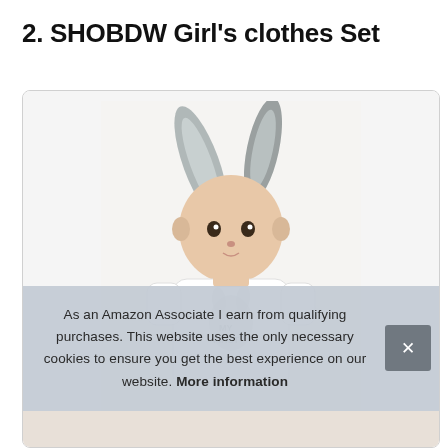2. SHOBDW Girl's clothes Set
[Figure (photo): Baby wearing a bunny ear hat and white onesie with bunny graphic and text 'MY FIRST', shown from torso up against white background]
As an Amazon Associate I earn from qualifying purchases. This website uses the only necessary cookies to ensure you get the best experience on our website. More information